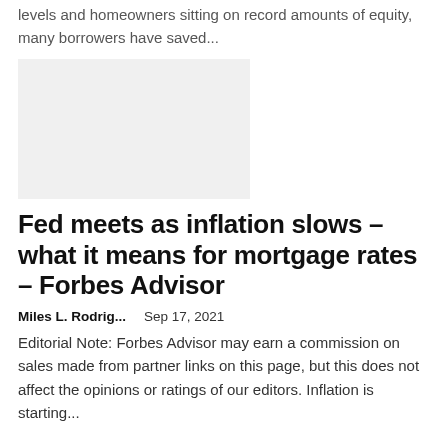levels and homeowners sitting on record amounts of equity, many borrowers have saved...
[Figure (other): Gray placeholder advertisement box]
Fed meets as inflation slows – what it means for mortgage rates – Forbes Advisor
Miles L. Rodrig...    Sep 17, 2021
Editorial Note: Forbes Advisor may earn a commission on sales made from partner links on this page, but this does not affect the opinions or ratings of our editors. Inflation is starting...